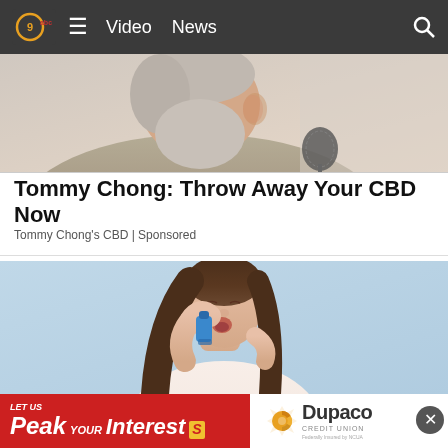Video  News
[Figure (photo): Partial view of an elderly man with gray beard and gray hair, seen from behind/side, near a microphone]
Tommy Chong: Throw Away Your CBD Now
Tommy Chong's CBD | Sponsored
[Figure (photo): Young woman with long brown hair using a blue inhaler, hand on chest, light blue background]
[Figure (infographic): Dupaco Credit Union advertisement banner: 'LET US Peak YOUR Interest[S]' on red background, with Dupaco Credit Union logo on white]